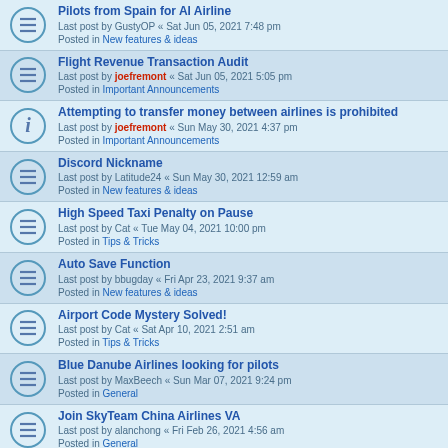Pilots from Spain for AI Airline
Last post by GustyOP « Sat Jun 05, 2021 7:48 pm
Posted in New features & ideas
Flight Revenue Transaction Audit
Last post by joefremont « Sat Jun 05, 2021 5:05 pm
Posted in Important Announcements
Attempting to transfer money between airlines is prohibited
Last post by joefremont « Sun May 30, 2021 4:37 pm
Posted in Important Announcements
Discord Nickname
Last post by Latitude24 « Sun May 30, 2021 12:59 am
Posted in New features & ideas
High Speed Taxi Penalty on Pause
Last post by Cat « Tue May 04, 2021 10:00 pm
Posted in Tips & Tricks
Auto Save Function
Last post by bbugday « Fri Apr 23, 2021 9:37 am
Posted in New features & ideas
Airport Code Mystery Solved!
Last post by Cat « Sat Apr 10, 2021 2:51 am
Posted in Tips & Tricks
Blue Danube Airlines looking for pilots
Last post by MaxBeech « Sun Mar 07, 2021 9:24 pm
Posted in General
Join SkyTeam China Airlines VA
Last post by alanchong « Fri Feb 26, 2021 4:56 am
Posted in General
Client 2.4.1 Released
Last post by joefremont « Sun Jan 31, 2021 12:32 am
Posted in Important Announcements
Clock in the Crew Center